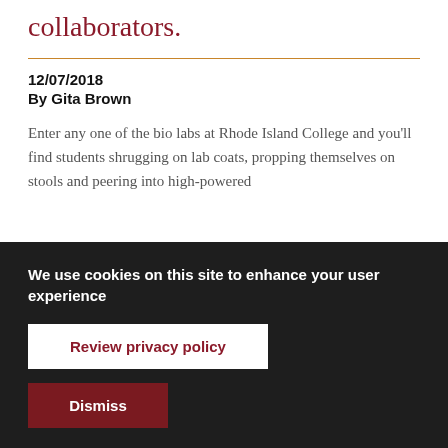collaborators.
12/07/2018
By Gita Brown
Enter any one of the bio labs at Rhode Island College and you'll find students shrugging on lab coats, propping themselves on stools and peering into high-powered
We use cookies on this site to enhance your user experience
Review privacy policy
Dismiss